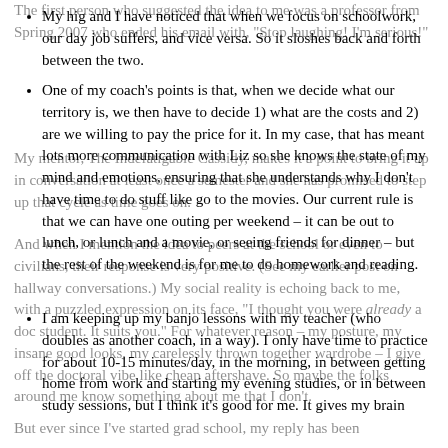My hig and I have noticed that when we focus on schoolwork, our day job suffers, and vice versa. So it sloshes back and forth between the two.
One of my coach's points is that, when we decide what our territory is, we then have to decide 1) what are the costs and 2) are we willing to pay the price for it. In my case, that has meant lots more communication with Liz so she knows the state of my mind and emotions, ensuring that she understands why I don't have time to do stuff like go to the movies. Our current rule is that we can have one outing per weekend – it can be out to lunch, or lunch and a movie, or seeing friends for dinner – but the rest of the weekend is for me to do homework and reading.
I am keeping up my banjo lessons with my teacher (who doubles as another coach, in a way). I only have time to practice for about 10-15 minutes/day, in the morning, in between getting home from work and starting my evening studies, or in between study sessions, but I think it's good for me. It gives my brain
The first person who suggested the idea to me was a professor from Spring 2007 who ended his email with, "Stop laughing! I'm serious!"
My mentor, The Indefatigable Cassidy, makes it a point to bring it up in conversation at least once a semester and she has promised to step up that cycle as time goes on.
And when I mention the idea to peers at the school or even to civilians, their response is very positive. (See my earlier post on hallway conversations.) My social reality is echoing back to me, with a puzzled expression on its face, "I thought you were already a doc student. It suits you." For whatever reason – my posture, my insane good looks, my carelessly thrown together wardrobe – I give off the doctoral vibe like cheap aftershave. So maybe the folks around me know something about me that I don't.
But ever since I've started grad school, my reply has been